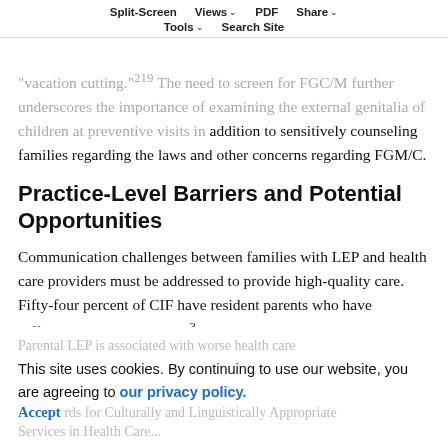Split-Screen | Views | PDF | Share | Tools | Search Site
"vacation cutting."²¹⁹ The need to screen for FGC/M further underscores the importance of examining the external genitalia of children at preventive visits in addition to sensitively counseling families regarding the laws and other concerns regarding FGM/C.
Practice-Level Barriers and Potential Opportunities
Communication challenges between families with LEP and health care providers must be addressed to provide high-quality care. Fifty-four percent of CIF have resident parents who have difficulty speaking English.³
Parental LEP is associated with worse health care outcomes and... National Standards for Culturally and Linguistically Appropriate Services in Health Care...
This site uses cookies. By continuing to use our website, you are agreeing to our privacy policy. Accept